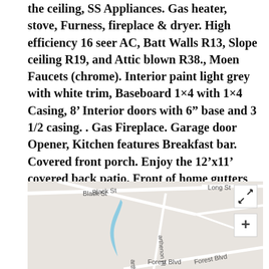the ceiling, SS Appliances. Gas heater, stove, Furness, fireplace & dryer. High efficiency 16 seer AC, Batt Walls R13, Slope ceiling R19, and Attic blown R38., Moen Faucets (chrome). Interior paint light grey with white trim, Baseboard 1×4 with 1×4 Casing, 8' Interior doors with 6" base and 3 1/2 casing. . Gas Fireplace. Garage door Opener, Kitchen features Breakfast bar. Covered front porch. Enjoy the 12'x11' covered back patio. Front of home gutters Fantastic location,30 Year Architectural shingles
[Figure (map): Street map showing Black St, Long St, Parthenon Pl, Forest Blvd area with a blue water feature. Includes expand and zoom-in controls.]